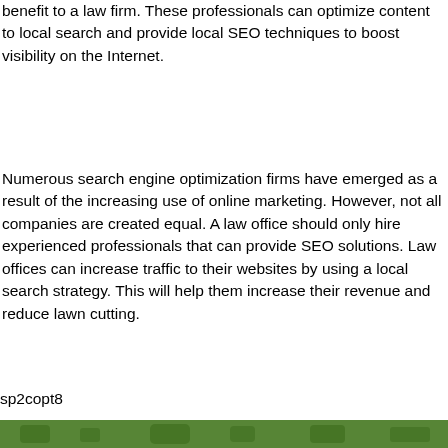benefit to a law firm. These professionals can optimize content to local search and provide local SEO techniques to boost visibility on the Internet.
Numerous search engine optimization firms have emerged as a result of the increasing use of online marketing. However, not all companies are created equal. A law office should only hire experienced professionals that can provide SEO solutions. Law offices can increase traffic to their websites by using a local search strategy. This will help them increase their revenue and reduce lawn cutting.
sp2copt8
[Figure (photo): Green outdoor/lawn image strip at bottom of page]